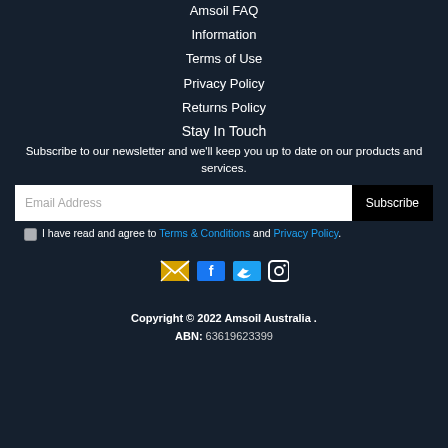Amsoil FAQ
Information
Terms of Use
Privacy Policy
Returns Policy
Stay In Touch
Subscribe to our newsletter and we'll keep you up to date on our products and services.
Email Address [Subscribe button]
I have read and agree to Terms & Conditions and Privacy Policy.
[Figure (other): Social media icons: email/envelope, Facebook, Twitter, Instagram]
Copyright © 2022 Amsoil Australia . ABN: 63619623399